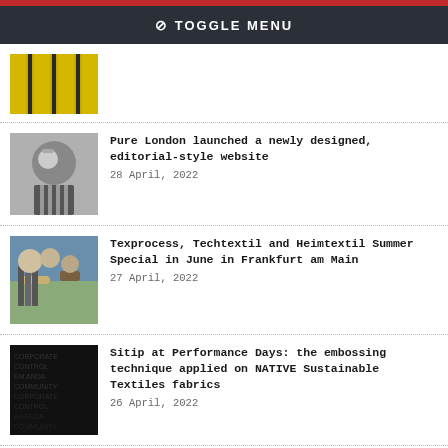⊘ TOGGLE MENU
[Figure (photo): Yellow garments hanging on rail, fashion/retail context]
[Figure (photo): Black and white photo of woman with sunglasses]
Pure London launched a newly designed, editorial-style website
28 April, 2022
[Figure (photo): People examining textile rolls at trade show]
Texprocess, Techtextil and Heimtextil Summer Special in June in Frankfurt am Main
27 April, 2022
[Figure (photo): Dark embossed fabric texture with text pattern]
Sitip at Performance Days: the embossing technique applied on NATIVE Sustainable Textiles fabrics
26 April, 2022
[Figure (photo): SwatchOn fashion digital image]
SwatchOn Secures $10 Million Fundraise to Revolutionizing Digital Fashion